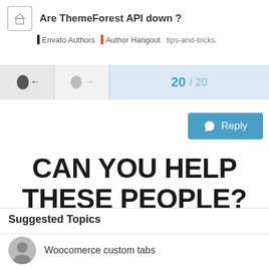Are ThemeForest API down ? | Envato Authors | Author Hangout tips-and-tricks
[Figure (screenshot): Navigation bar with back arrow (20/20) and forward arrow pagination control]
[Figure (other): Reply button with arrow icon]
CAN YOU HELP THESE PEOPLE?
Suggested Topics
Woocomerce custom tabs